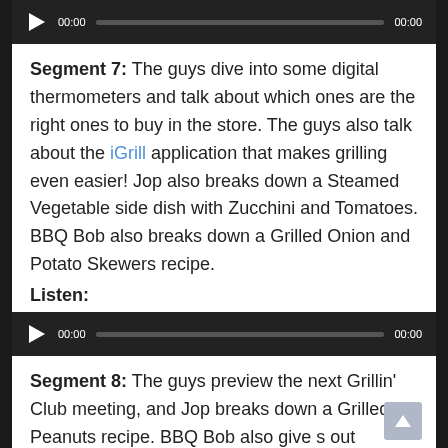[Figure (other): Audio player with play button, time 00:00, progress bar, and duration 00:00 on dark background]
Segment 7: The guys dive into some digital thermometers and talk about which ones are the right ones to buy in the store. The guys also talk about the iGrill application that makes grilling even easier! Jop also breaks down a Steamed Vegetable side dish with Zucchini and Tomatoes. BBQ Bob also breaks down a Grilled Onion and Potato Skewers recipe.
Listen:
[Figure (other): Audio player with play button, time 00:00, progress bar, and duration 00:00 on dark background]
Segment 8: The guys preview the next Grillin' Club meeting, and Jop breaks down a Grilled Peanuts recipe. BBQ Bob also give s out